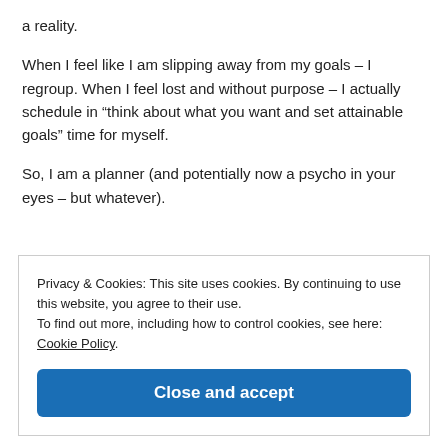a reality.
When I feel like I am slipping away from my goals – I regroup. When I feel lost and without purpose – I actually schedule in “think about what you want and set attainable goals” time for myself.
So, I am a planner (and potentially now a psycho in your eyes – but whatever).
Privacy & Cookies: This site uses cookies. By continuing to use this website, you agree to their use.
To find out more, including how to control cookies, see here: Cookie Policy
Close and accept